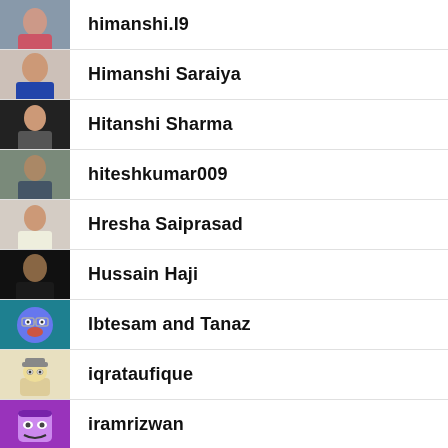himanshi.l9
Himanshi Saraiya
Hitanshi Sharma
hiteshkumar009
Hresha Saiprasad
Hussain Haji
Ibtesam and Tanaz
iqrataufique
iramrizwan